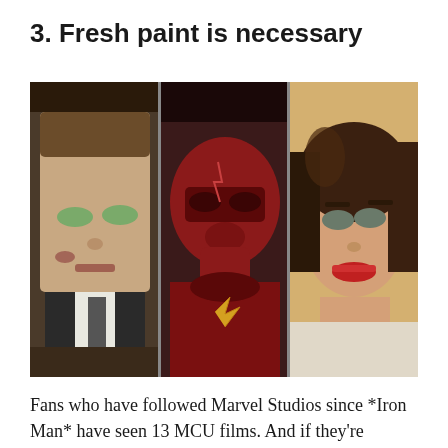3. Fresh paint is necessary
[Figure (photo): A composite image of three TV/film characters side by side: on the left, a man in a suit with a bruised face (appears to be from Gotham); in the center, a superhero in a red masked suit (appears to be The Flash); on the right, a woman with 1940s-style hair and red lipstick (appears to be Agent Carter from Marvel).]
Fans who have followed Marvel Studios since *Iron Man* have seen 13 MCU films. And if they're